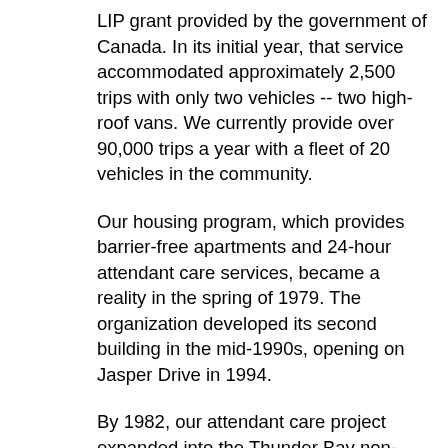LIP grant provided by the government of Canada. In its initial year, that service accommodated approximately 2,500 trips with only two vehicles -- two high-roof vans. We currently provide over 90,000 trips a year with a fleet of 20 vehicles in the community.
Our housing program, which provides barrier-free apartments and 24-hour attendant care services, became a reality in the spring of 1979. The organization developed its second building in the mid-1990s, opening on Jasper Drive in 1994.
By 1982, our attendant care project expanded into the Thunder Bay non-profit housing apartment buildings, providing support services to all their barrier-free apartments. In 1986, we started an outreach attendant care program in Kenora and later expanded to persons living in their